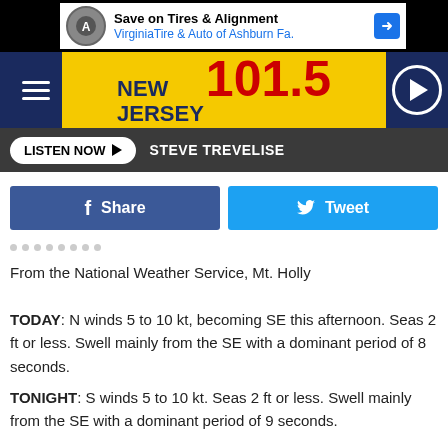[Figure (screenshot): Advertisement banner for VirginiaTire & Auto of Ashburn Fa. - Save on Tires & Alignment]
[Figure (logo): New Jersey 101.5 radio station logo with yellow background and dark blue header]
[Figure (screenshot): LISTEN NOW button and STEVE TREVELISE text on dark bar]
[Figure (infographic): Facebook Share and Twitter Tweet social media buttons]
From the National Weather Service, Mt. Holly
TODAY: N winds 5 to 10 kt, becoming SE this afternoon. Seas 2 ft or less. Swell mainly from the SE with a dominant period of 8 seconds.
TONIGHT: S winds 5 to 10 kt. Seas 2 ft or less. Swell mainly from the SE with a dominant period of 9 seconds.